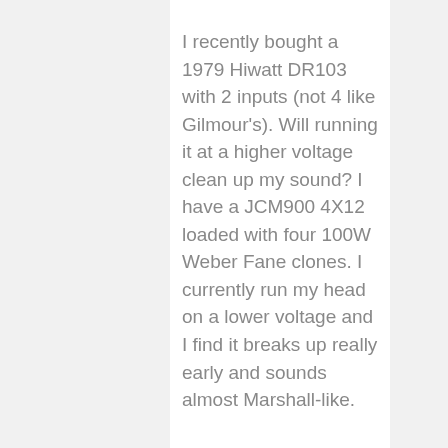I recently bought a 1979 Hiwatt DR103 with 2 inputs (not 4 like Gilmour's). Will running it at a higher voltage clean up my sound? I have a JCM900 4X12 loaded with four 100W Weber Fane clones. I currently run my head on a lower voltage and I find it breaks up really early and sounds almost Marshall-like.